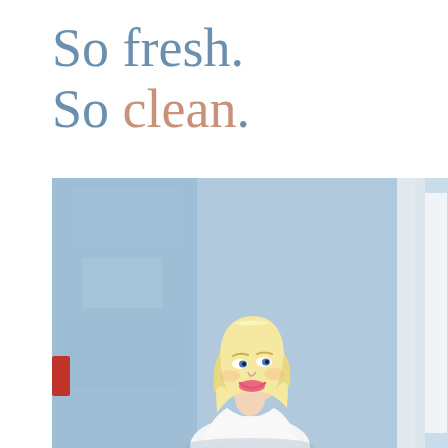So fresh. So clean.
[Figure (photo): A blonde woman in a white spaghetti-strap dress smiling and looking to her left, standing in front of a light blue textured wall with a white door/pillar on the right side.]